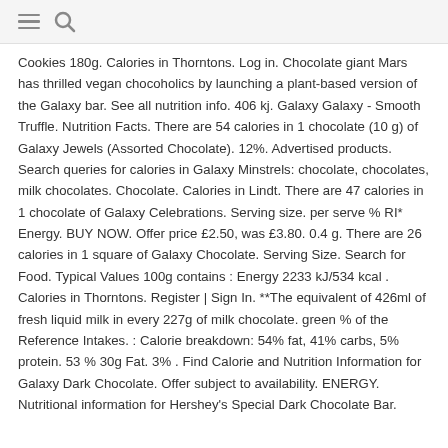≡ 🔍
Cookies 180g. Calories in Thorntons. Log in. Chocolate giant Mars has thrilled vegan chocoholics by launching a plant-based version of the Galaxy bar. See all nutrition info. 406 kj. Galaxy Galaxy - Smooth Truffle. Nutrition Facts. There are 54 calories in 1 chocolate (10 g) of Galaxy Jewels (Assorted Chocolate). 12%. Advertised products. Search queries for calories in Galaxy Minstrels: chocolate, chocolates, milk chocolates. Chocolate. Calories in Lindt. There are 47 calories in 1 chocolate of Galaxy Celebrations. Serving size. per serve % RI* Energy. BUY NOW. Offer price £2.50, was £3.80. 0.4 g. There are 26 calories in 1 square of Galaxy Chocolate. Serving Size. Search for Food. Typical Values 100g contains : Energy 2233 kJ/534 kcal . Calories in Thorntons. Register | Sign In. **The equivalent of 426ml of fresh liquid milk in every 227g of milk chocolate. green % of the Reference Intakes. : Calorie breakdown: 54% fat, 41% carbs, 5% protein. 53 % 30g Fat. 3% . Find Calorie and Nutrition Information for Galaxy Dark Chocolate. Offer subject to availability. ENERGY. Nutritional information for Hershey's Special Dark Chocolate Bar.